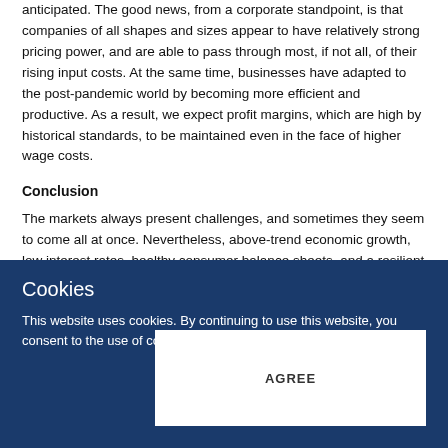anticipated. The good news, from a corporate standpoint, is that companies of all shapes and sizes appear to have relatively strong pricing power, and are able to pass through most, if not all, of their rising input costs. At the same time, businesses have adapted to the post-pandemic world by becoming more efficient and productive. As a result, we expect profit margins, which are high by historical standards, to be maintained even in the face of higher wage costs.
Conclusion
The markets always present challenges, and sometimes they seem to come all at once. Nevertheless, above-trend economic growth, low interest rates, healthy consumer balance sheets, and a resilient and productive corporate sector combine to form a constructive backdrop for the US equity markets.
Cookies
This website uses cookies. By continuing to use this website, you consent to the use of cookies. Learn more.
AGREE